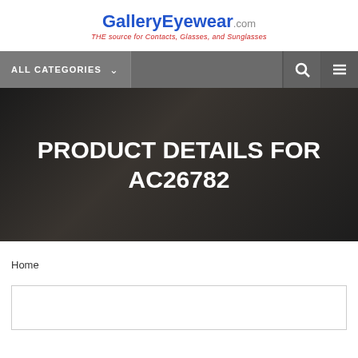[Figure (logo): GalleryEyewear.com logo with tagline 'THE source for Contacts, Glasses, and Sunglasses']
ALL CATEGORIES
PRODUCT DETAILS FOR AC26782
Home